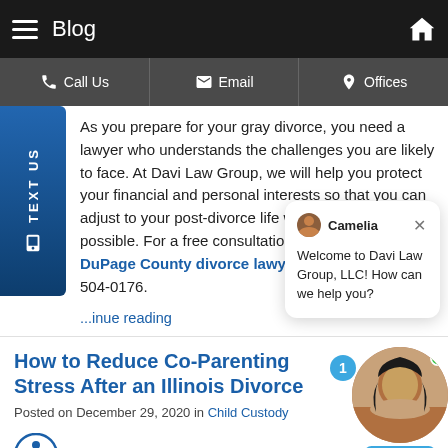Blog
Call Us  Email  Offices
As you prepare for your gray divorce, you need a lawyer who understands the challenges you are likely to face. At Davi Law Group, we will help you protect your financial and personal interests so that you can adjust to your post-divorce life with as little stress as possible. For a free consultation with an experienced DuPage County divorce lawyer, contact us at 630-504-0176.
Welcome to Davi Law Group, LLC! How can we help you?
...inue reading
How to Reduce Co-Parenting Stress After an Illinois Divorce
Posted on December 29, 2020 in Child Custody